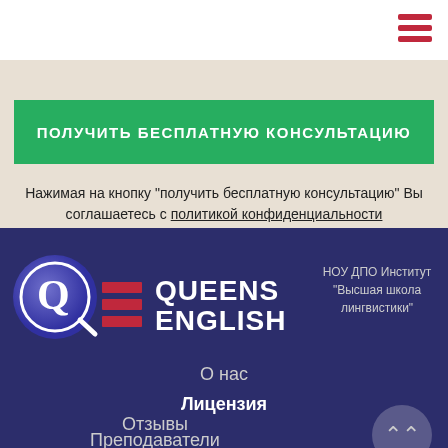ПОЛУЧИТЬ БЕСПЛАТНУЮ КОНСУЛЬТАЦИЮ
Нажимая на кнопку "получить бесплатную консультацию" Вы соглашаетесь с политикой конфиденциальности
[Figure (logo): Queens English logo with stylized Q letter and red rectangles]
НОУ ДПО Институт "Высшая школа лингвистики"
О нас
Лицензия
Отзывы
Преподаватели